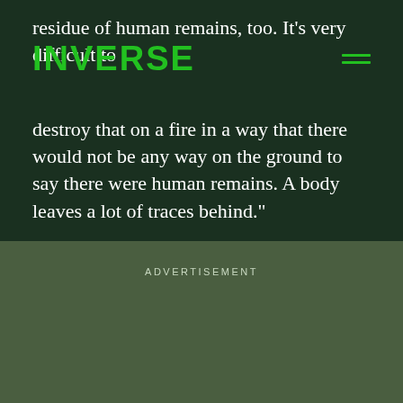INVERSE
residue of human remains, too. It's very difficult to destroy that on a fire in a way that there would not be any way on the ground to say there were human remains. A body leaves a lot of traces behind.”
ADVERTISEMENT